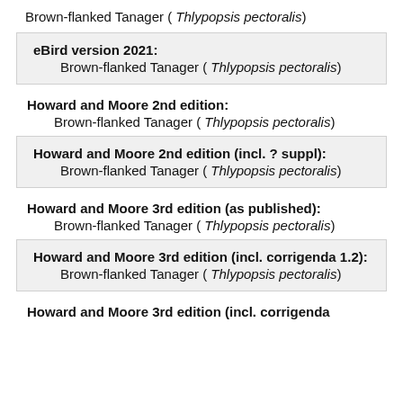Brown-flanked Tanager ( Thlypopsis pectoralis)
eBird version 2021: Brown-flanked Tanager ( Thlypopsis pectoralis)
Howard and Moore 2nd edition: Brown-flanked Tanager ( Thlypopsis pectoralis)
Howard and Moore 2nd edition (incl. ? suppl): Brown-flanked Tanager ( Thlypopsis pectoralis)
Howard and Moore 3rd edition (as published): Brown-flanked Tanager ( Thlypopsis pectoralis)
Howard and Moore 3rd edition (incl. corrigenda 1.2): Brown-flanked Tanager ( Thlypopsis pectoralis)
Howard and Moore 3rd edition (incl. corrigenda